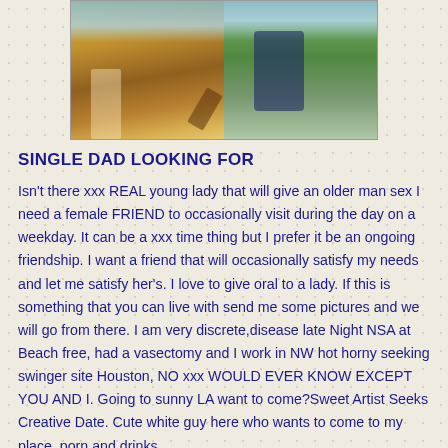[Figure (photo): Two photos side by side: left shows a person in yellow crocheted outfit with high heels, right shows a person in blue top and shorts sitting on a floral pattern surface]
SINGLE DAD LOOKING FOR
Isn't there xxx REAL young lady that will give an older man sex I need a female FRIEND to occasionally visit during the day on a weekday. It can be a xxx time thing but I prefer it be an ongoing friendship. I want a friend that will occasionally satisfy my needs and let me satisfy her's. I love to give oral to a lady. If this is something that you can live with send me some pictures and we will go from there. I am very discrete,disease late Night NSA at Beach free, had a vasectomy and I work in NW hot horny seeking swinger site Houston, NO xxx WOULD EVER KNOW EXCEPT YOU AND I. Going to sunny LA want to come?Sweet Artist Seeks Creative Date. Cute white guy here who wants to come to my place. porn and drinks